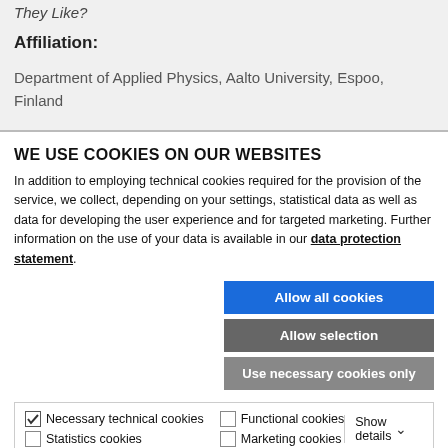They Like?
Affiliation:
Department of Applied Physics, Aalto University, Espoo, Finland
WE USE COOKIES ON OUR WEBSITES
In addition to employing technical cookies required for the provision of the service, we collect, depending on your settings, statistical data as well as data for developing the user experience and for targeted marketing. Further information on the use of your data is available in our data protection statement.
Allow all cookies
Allow selection
Use necessary cookies only
Necessary technical cookies   Functional cookies   Statistics cookies   Marketing cookies   Show details